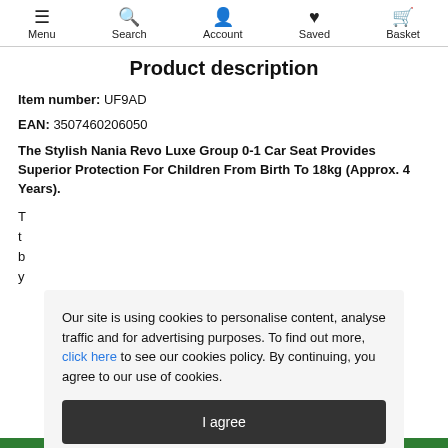Menu | Search | Account | Saved | Basket
Product description
Item number: UF9AD
EAN: 3507460206050
The Stylish Nania Revo Luxe Group 0-1 Car Seat Provides Superior Protection For Children From Birth To 18kg (Approx. 4 Years).
Our site is using cookies to personalise content, analyse traffic and for advertising purposes. To find out more, click here to see our cookies policy. By continuing, you agree to our use of cookies.
I agree